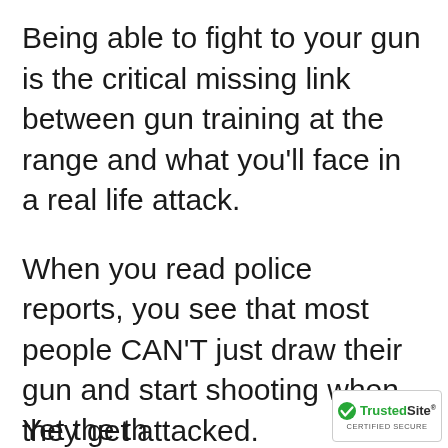Being able to fight to your gun is the critical missing link between gun training at the range and what you'll face in a real life attack.
When you read police reports, you see that most people CAN'T just draw their gun and start shooting when they get attacked.
Yet the th...
[Figure (logo): TrustedSite CERTIFIED SECURE badge with green checkmark]